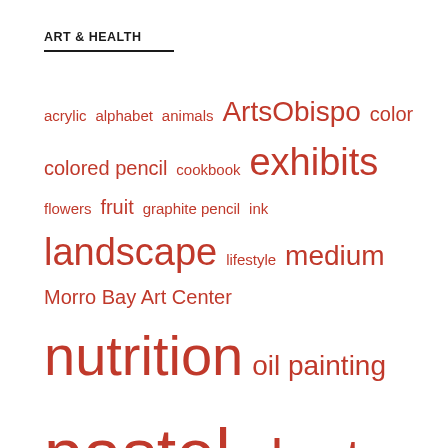ART & HEALTH
[Figure (infographic): Tag cloud with art and health related terms in varying font sizes rendered in red/crimson color. Terms include: acrylic, alphabet, animals, ArtsObispo, color, colored pencil, cookbook, exhibits, flowers, fruit, graphite pencil, ink, landscape, lifestyle, medium, Morro Bay Art Center, nutrition, oil painting, pastel, plants, podcast, scholarship, seascape, sketchbook, skyscape, teacher, typography, vegetables, watercolor]